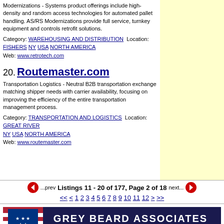Modernizations - Systems product offerings include high-density and random access technologies for automated pallet handling. AS/RS Modernizations provide full service, turnkey equipment and controls retrofit solutions.
Category: WAREHOUSING AND DISTRIBUTION  Location: FISHERS  NY  USA  NORTH AMERICA
Web: www.retrotech.com
20. Routemaster.com
Transportation Logistics - Neutral B2B transportation exchange matching shipper needs with carrier availability, focusing on improving the efficiency of the entire transportation management process.
Category: TRANSPORTATION AND LOGISTICS  Location: GREAT RIVER  NY  USA  NORTH AMERICA
Web: www.routemaster.com
...prev  Listings 11 - 20 of 177, Page 2 of 18  next...
<< < 1 2 3 4 5 6 7 8 9 10 11 12 > >>
[Figure (other): Grey Beard Associates banner - Results-Oriented Logistics Consulting, with American flag shield logo]
Home • News • Jobs • Tools • LogLink • Advertise • Publish Your News Release • Add Your Company • About • Contact
Copyright© 1995-2016 LogisticsWorld™